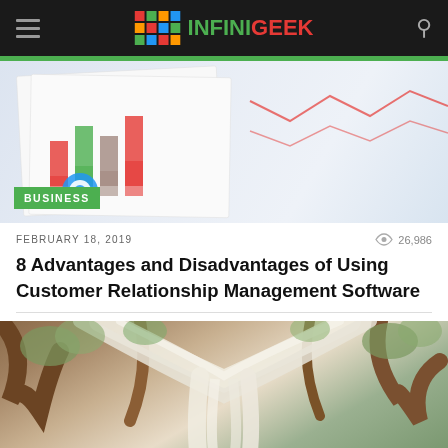INFINIGEEK navigation bar
[Figure (photo): Overhead view of business charts and graphs on paper documents with a circular logo icon, blurred background]
BUSINESS
FEBRUARY 18, 2019
26,986
8 Advantages and Disadvantages of Using Customer Relationship Management Software
[Figure (photo): Outdoor wedding or event decoration with white fabric draping and greenery on tree branches]